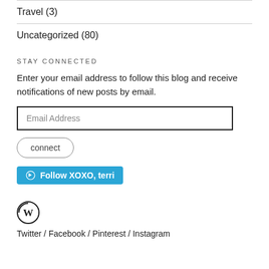Travel (3)
Uncategorized (80)
STAY CONNECTED
Enter your email address to follow this blog and receive notifications of new posts by email.
Email Address
connect
[Figure (other): WordPress Follow XOXO, terri button in blue]
[Figure (logo): WordPress logo]
Twitter / Facebook / Pinterest / Instagram